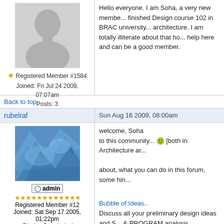[Figure (photo): Default grey silhouette avatar placeholder]
Registered Member #1584
Joined: Fri Jul 24 2009, 07:07am
Posts: 3
Hello everyone. I am Soha, a very new member... finished Design course 102 in BRAC university... architecture. I am totally illiterate about that ho... help here and can be a good member.
Back to top
rubelraf
Sun Aug 16 2009, 08:00am
[Figure (photo): Blue abstract/sculptural photo avatar for user rubelraf]
admin
Registered Member #12
Joined: Sat Sep 17 2005, 01:22pm
: Dhaka, Bangladesh
Posts: 333
welcome, Soha
to this community... [both in Architecture ar...

about, what you can do in this forum, some hin...
Bubble of Ideas..
Discuss all your preliminary design ideas and S... & PROGRAM analysis
Design Development
Discuss your all other problems and possibilitie... your development level drawings.. etc.
Jury, Presentation, Tools & Techniques
Put your finished projects here for crit. Discuss...